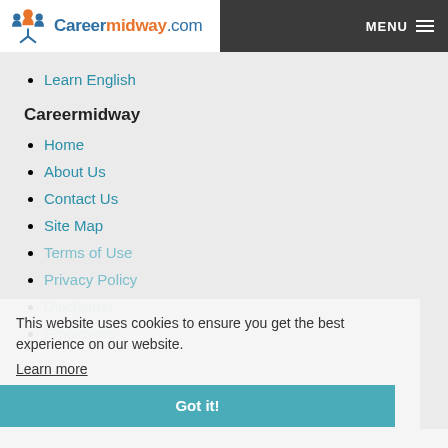Careermidway.com | MENU
Learn English
Careermidway
Home
About Us
Contact Us
Site Map
Terms of Use
Privacy Policy
Disclaimer
Employers
This website uses cookies to ensure you get the best experience on our website. Learn more
Got it!